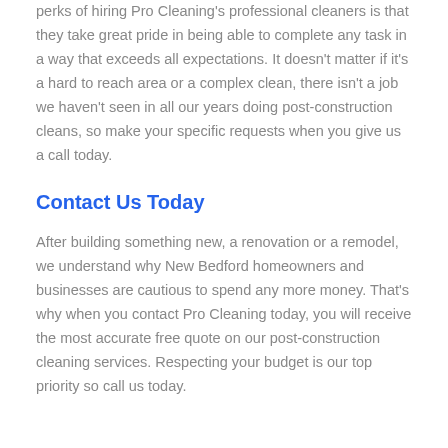perks of hiring Pro Cleaning's professional cleaners is that they take great pride in being able to complete any task in a way that exceeds all expectations. It doesn't matter if it's a hard to reach area or a complex clean, there isn't a job we haven't seen in all our years doing post-construction cleans, so make your specific requests when you give us a call today.
Contact Us Today
After building something new, a renovation or a remodel, we understand why New Bedford homeowners and businesses are cautious to spend any more money. That's why when you contact Pro Cleaning today, you will receive the most accurate free quote on our post-construction cleaning services. Respecting your budget is our top priority so call us today.